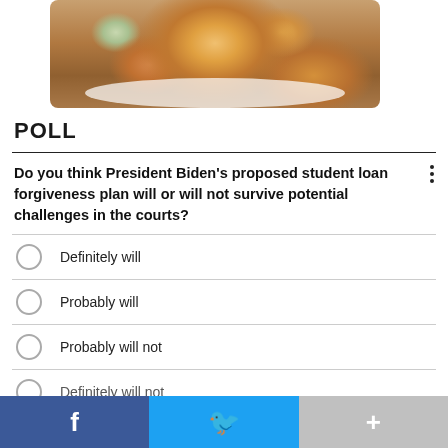[Figure (photo): A bowl of roasted potato salad with herbs and onions on a wooden surface with a checkered cloth]
POLL
Do you think President Biden's proposed student loan forgiveness plan will or will not survive potential challenges in the courts?
Definitely will
Probably will
Probably will not
Definitely will not